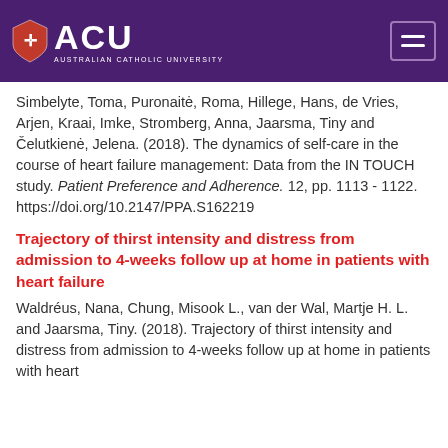ACU — Australian Catholic University
Simbelyte, Toma, Puronaitė, Roma, Hillege, Hans, de Vries, Arjen, Kraai, Imke, Stromberg, Anna, Jaarsma, Tiny and Čelutkienė, Jelena. (2018). The dynamics of self-care in the course of heart failure management: Data from the IN TOUCH study. Patient Preference and Adherence. 12, pp. 1113 - 1122. https://doi.org/10.2147/PPA.S162219
Trajectory of thirst intensity and distress from admission to 4-weeks follow up at home in patients with heart failure
Waldréus, Nana, Chung, Misook L., van der Wal, Martje H. L. and Jaarsma, Tiny. (2018). Trajectory of thirst intensity and distress from admission to 4-weeks follow up at home in patients with heart